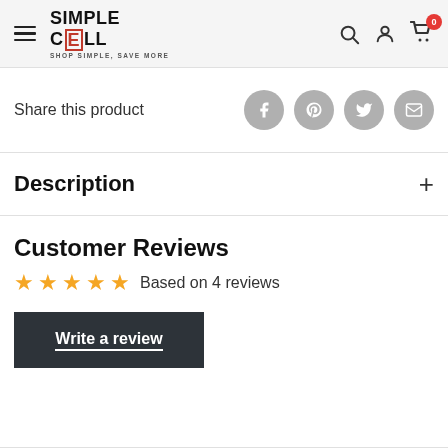Simple Cell — SHOP SIMPLE, SAVE MORE — navigation header with hamburger menu, search, account, and cart icons
Share this product
Description
Customer Reviews
Based on 4 reviews
Write a review